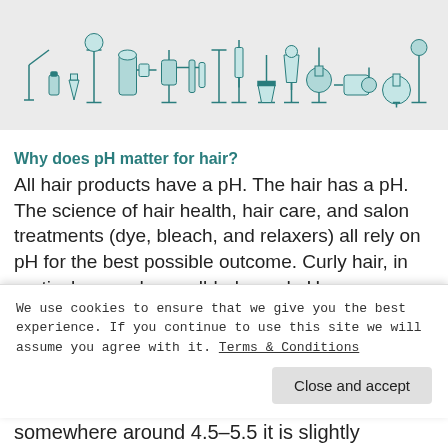[Figure (illustration): Illustration of laboratory equipment and apparatus arranged in a horizontal line on a light gray background, drawn in teal/dark cyan style.]
Why does pH matter for hair?
All hair products have a pH. The hair has a pH. The science of hair health, hair care, and salon treatments (dye, bleach, and relaxers) all rely on pH for the best possible outcome. Curly hair, in particular, needs a well-balanced pH somewhere around 4.5–5.5 it is slightly
We use cookies to ensure that we give you the best experience. If you continue to use this site we will assume you agree with it. Terms & Conditions
Close and accept